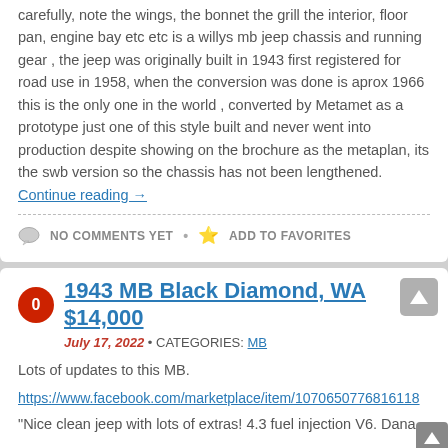carefully, note the wings, the bonnet the grill the interior, floor pan, engine bay etc etc is a willys mb jeep chassis and running gear , the jeep was originally built in 1943 first registered for road use in 1958, when the conversion was done is aprox 1966 this is the only one in the world , converted by Metamet as a prototype just one of this style built and never went into production despite showing on the brochure as the metaplan, its the swb version so the chassis has not been lengthened. Continue reading →
NO COMMENTS YET • ADD TO FAVORITES
1943 MB Black Diamond, WA $14,000
July 17, 2022 • CATEGORIES: MB
Lots of updates to this MB.
https://www.facebook.com/marketplace/item/1070650776816118
"Nice clean jeep with lots of extras! 4.3 fuel injection V6. Dana